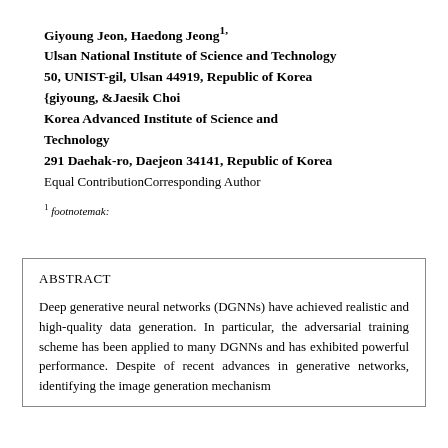Giyoung Jeon, Haedong Jeong1,
Ulsan National Institute of Science and Technology
50, UNIST-gil, Ulsan 44919, Republic of Korea
{giyoung, &Jaesik Choi
Korea Advanced Institute of Science and Technology
291 Daehak-ro, Daejeon 34141, Republic of Korea
Equal ContributionCorresponding Author
1 footnotemak:
ABSTRACT
Deep generative neural networks (DGNNs) have achieved realistic and high-quality data generation. In particular, the adversarial training scheme has been applied to many DGNNs and has exhibited powerful performance. Despite of recent advances in generative networks, identifying the image generation mechanism